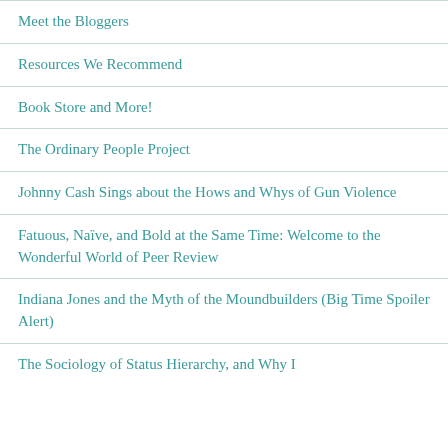Meet the Bloggers
Resources We Recommend
Book Store and More!
The Ordinary People Project
Johnny Cash Sings about the Hows and Whys of Gun Violence
Fatuous, Naïve, and Bold at the Same Time: Welcome to the Wonderful World of Peer Review
Indiana Jones and the Myth of the Moundbuilders (Big Time Spoiler Alert)
The Sociology of Status Hierarchy, and Why I